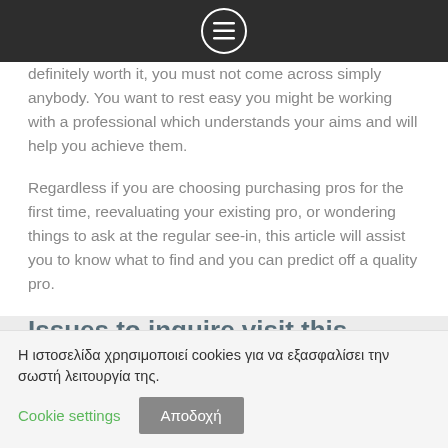[navigation menu icon]
definitely worth it, you must not come across simply anybody. You want to rest easy you might be working with a professional which understands your aims and will help you achieve them.
Regardless if you are choosing purchasing pros for the first time, reevaluating your existing pro, or wondering things to ask at the regular see-in, this article will assist you to know what to find and you can predict off a quality pro.
Issues to inquire visit this website about a monetary Mentor
Whether you're just starting to purchase or you've been purchasing toward your for decades, it is a smart go on to move
Η ιστοσελίδα χρησιμοποιεί cookies για να εξασφαλίσει την σωστή λειτουργία της.
Cookie settings
Αποδοχή